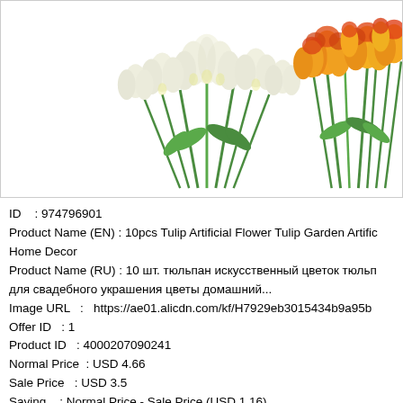[Figure (photo): Two bouquets of tulips: white tulips on the left and orange/yellow tulips on the right, on a white background inside a bordered container.]
ID    : 974796901
Product Name (EN) : 10pcs Tulip Artificial Flower Tulip Garden Artific Home Decor
Product Name (RU) : 10 шт. тюльпан искусственный цветок тюльп для свадебного украшения цветы домашний...
Image URL   :   https://ae01.alicdn.com/kf/H7929eb3015434b9a95b
Offer ID   : 1
Product ID   : 4000207090241
Normal Price  : USD 4.66
Sale Price   : USD 3.5
Saving    : Normal Price - Sale Price (USD 1.16)
Discount   : 24.89 %
Valid Time   : 4452198 seconds
Number of Sales  : 0
Exception Type  : 1